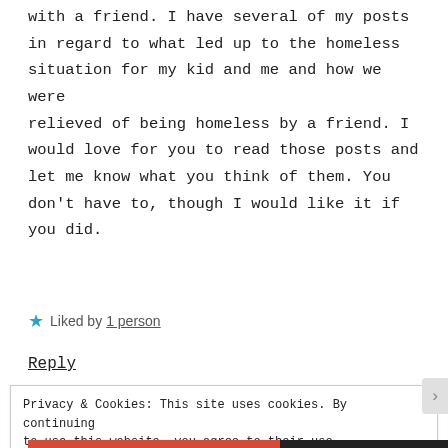with a friend. I have several of my posts in regard to what led up to the homeless situation for my kid and me and how we were relieved of being homeless by a friend. I would love for you to read those posts and let me know what you think of them. You don't have to, though I would like it if you did.
★ Liked by 1 person
Reply
Privacy & Cookies: This site uses cookies. By continuing to use this website, you agree to their use. To find out more, including how to control cookies, see here: Cookie Policy
Close and accept